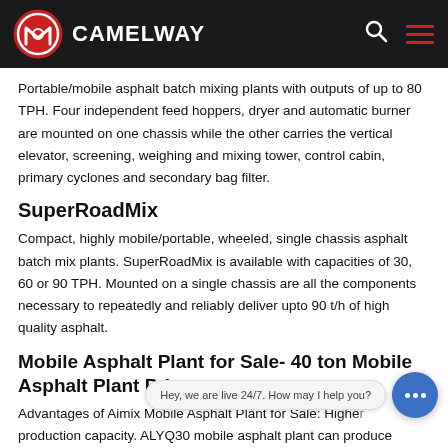CAMELWAY
Portable/mobile asphalt batch mixing plants with outputs of up to 80 TPH. Four independent feed hoppers, dryer and automatic burner are mounted on one chassis while the other carries the vertical elevator, screening, weighing and mixing tower, control cabin, primary cyclones and secondary bag filter.
SuperRoadMix
Compact, highly mobile/portable, wheeled, single chassis asphalt batch mix plants. SuperRoadMix is available with capacities of 30, 60 or 90 TPH. Mounted on a single chassis are all the components necessary to repeatedly and reliably deliver upto 90 t/h of high quality asphalt.
Mobile Asphalt Plant for Sale- 40 ton Mobile Asphalt Plant Price
Advantages of Aimix Mobile Asphalt Plant for Sale: Higher production capacity. ALYQ30 mobile asphalt plant can produce